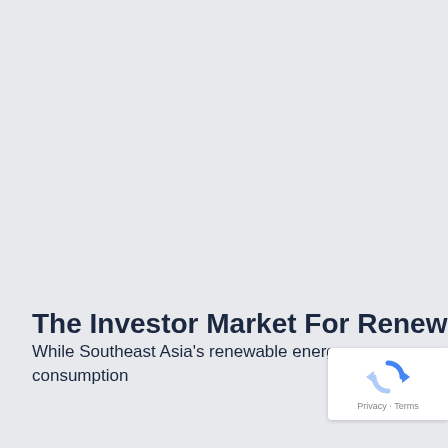The Investor Market For Renewable
While Southeast Asia's renewable energy consumption